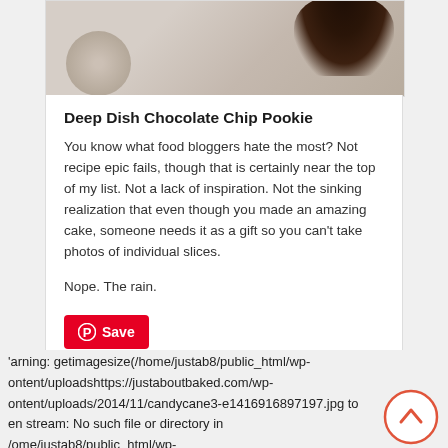[Figure (photo): Top portion of a food/baking blog card showing a dark chocolate cookie/cake on a light background with a round light-colored object at bottom left]
Deep Dish Chocolate Chip Pookie
You know what food bloggers hate the most? Not recipe epic fails, though that is certainly near the top of my list. Not a lack of inspiration. Not the sinking realization that even though you made an amazing cake, someone needs it as a gift so you can't take photos of individual slices.
Nope. The rain.
[Figure (screenshot): Pinterest Save button — red rounded rectangle with Pinterest logo and 'Save' text]
arning: getimagesize(/home/justab8/public_html/wp-ontent/uploadshttps://justaboutbaked.com/wp-ontent/uploads/2014/11/candycane3-e1416916897197.jpg to en stream: No such file or directory in ome/justab8/public_html/wp-ontent/themes/Total/framework/classes/image-resize.php on line 21
[Figure (illustration): Back to top chevron arrow button — circular outline with upward chevron inside]